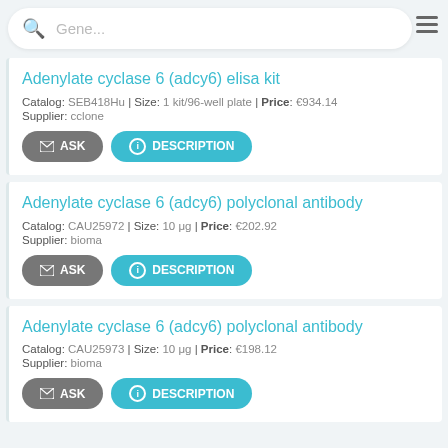Gene...
Adenylate cyclase 6 (adcy6) elisa kit
Catalog: SEB418Hu | Size: 1 kit/96-well plate | Price: €934.14
Supplier: cclone
Adenylate cyclase 6 (adcy6) polyclonal antibody
Catalog: CAU25972 | Size: 10 μg | Price: €202.92
Supplier: bioma
Adenylate cyclase 6 (adcy6) polyclonal antibody
Catalog: CAU25973 | Size: 10 μg | Price: €198.12
Supplier: bioma